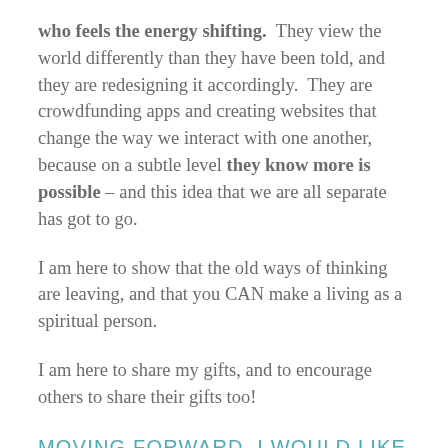who feels the energy shifting. They view the world differently than they have been told, and they are redesigning it accordingly. They are crowdfunding apps and creating websites that change the way we interact with one another, because on a subtle level they know more is possible – and this idea that we are all separate has got to go.
I am here to show that the old ways of thinking are leaving, and that you CAN make a living as a spiritual person.
I am here to share my gifts, and to encourage others to share their gifts too!
MOVING FORWARD, I WOULD LIKE TO BE REFERRED TO AS A SPIRITUAL